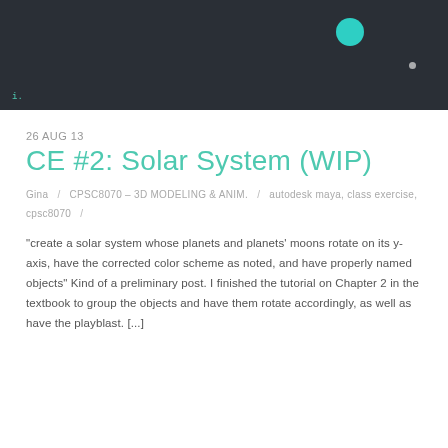[Figure (screenshot): Dark background screenshot of a 3D solar system scene with a large teal/green sphere and a small white dot, with a green number indicator in the bottom left corner.]
26 AUG 13
CE #2: Solar System (WIP)
Gina / CPSC8070 – 3D MODELING & ANIM. / autodesk maya, class exercise, cpsc8070 /
“create a solar system whose planets and planets’ moons rotate on its y-axis, have the corrected color scheme as noted, and have properly named objects” Kind of a preliminary post. I finished the tutorial on Chapter 2 in the textbook to group the objects and have them rotate accordingly, as well as have the playblast. [...]